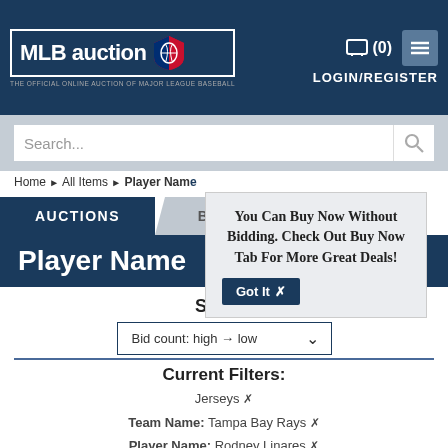[Figure (logo): MLB auction logo — The Official Online Auction of Major League Baseball]
(0) LOGIN/REGISTER
Search...
Home ▶ All Items ▶ Player Name
AUCTIONS   BUY NOW
Player Name
You Can Buy Now Without Bidding. Check Out Buy Now Tab For More Great Deals!
Got It ✕
SORT
Bid count: high → low
Current Filters:
Jerseys ✕
Team Name: Tampa Bay Rays ✕
Player Name: Rodney Linares ✕
Clear All